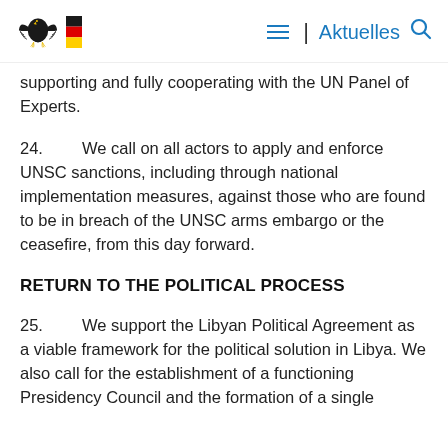| Aktuelles
supporting and fully cooperating with the UN Panel of Experts.
24.      We call on all actors to apply and enforce UNSC sanctions, including through national implementation measures, against those who are found to be in breach of the UNSC arms embargo or the ceasefire, from this day forward.
RETURN TO THE POLITICAL PROCESS
25.      We support the Libyan Political Agreement as a viable framework for the political solution in Libya. We also call for the establishment of a functioning Presidency Council and the formation of a single